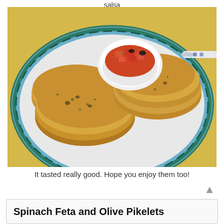salsa
[Figure (photo): A plate of spinach feta and olive pikelets (savory pancakes) arranged on a decorative green and blue plate, with a small white bowl of tomato salsa with olives in the background, and a decorative knife to the right. The plate sits on a yellow surface.]
It tasted really good. Hope you enjoy them too!
Spinach Feta and Olive Pikelets